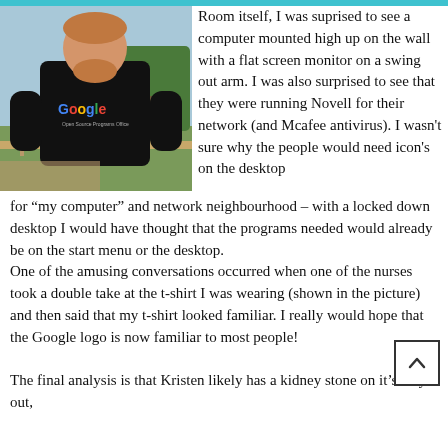[Figure (photo): A man wearing a black Google t-shirt (Open Source Programs Office) standing outdoors with trees and a fence in the background.]
Room itself, I was suprised to see a computer mounted high up on the wall with a flat screen monitor on a swing out arm. I was also surprised to see that they were running Novell for their network (and Mcafee antivirus). I wasn't sure why the people would need icon's on the desktop for “my computer” and network neighbourhood – with a locked down desktop I would have thought that the programs needed would already be on the start menu or the desktop.
One of the amusing conversations occurred when one of the nurses took a double take at the t-shirt I was wearing (shown in the picture) and then said that my t-shirt looked familiar. I really would hope that the Google logo is now familiar to most people!
The final analysis is that Kristen likely has a kidney stone on it's way out,